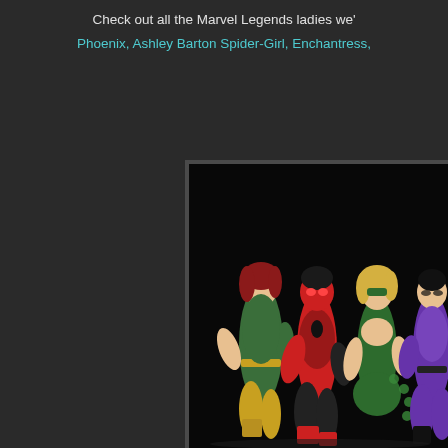Check out all the Marvel Legends ladies we'
Phoenix, Ashley Barton Spider-Girl, Enchantress,
[Figure (photo): Four Marvel Legends female action figures posed against a black background: Phoenix (green and yellow costume, red hair), Ashley Barton Spider-Girl (red and black spider costume), Enchantress (green dress, blonde hair, green mask), and a fourth figure in purple costume.]